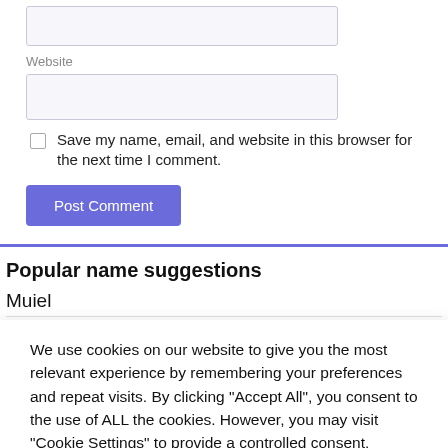Website
Save my name, email, and website in this browser for the next time I comment.
Post Comment
Popular name suggestions
Muiel
We use cookies on our website to give you the most relevant experience by remembering your preferences and repeat visits. By clicking "Accept All", you consent to the use of ALL the cookies. However, you may visit "Cookie Settings" to provide a controlled consent.
Cookie Settings
Accept All